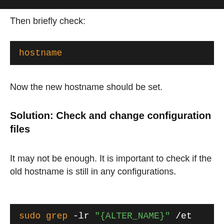Then briefly check:
[Figure (screenshot): Dark terminal code block showing: hostname]
Now the new hostname should be set.
Solution: Check and change configuration files
It may not be enough. It is important to check if the old hostname is still in any configurations.
[Figure (screenshot): Dark terminal code block showing: sudo grep -lr "{ALTER_NAME}" /et]